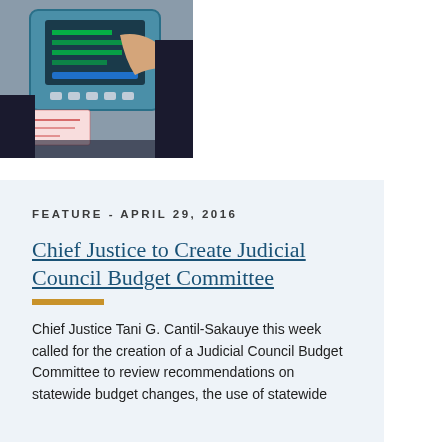[Figure (photo): A person pressing buttons on an electronic kiosk or payment terminal, holding papers, wearing dark clothing.]
FEATURE  -  APRIL 29, 2016
Chief Justice to Create Judicial Council Budget Committee
Chief Justice Tani G. Cantil-Sakauye this week called for the creation of a Judicial Council Budget Committee to review recommendations on statewide budget changes, the use of statewide